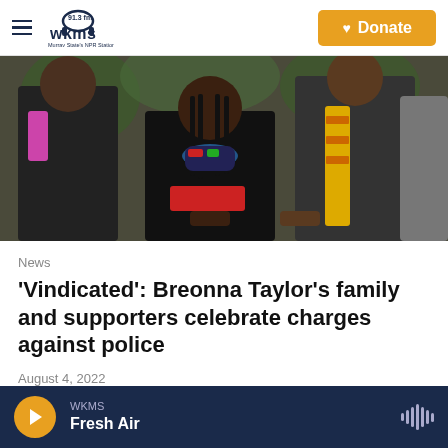WKMS 91.3 FM Murray State's NPR Station | Donate
[Figure (photo): Group of people at a gathering, woman in center wearing black outfit with colorful neckline and braids, man beside her in pinstripe suit with yellow and orange stole]
News
'Vindicated': Breonna Taylor's family and supporters celebrate charges against police
August 4, 2022
WKMS Fresh Air